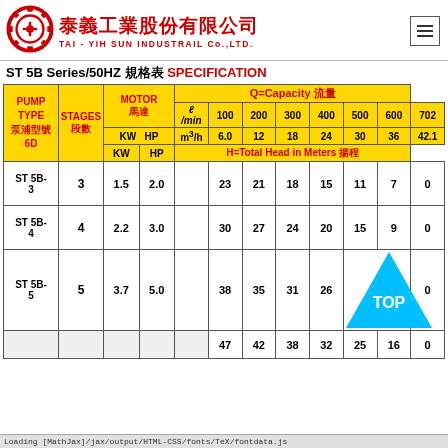[Figure (logo): Circular gear logo for Tai-Yih Sun Industrial Co., Ltd.]
泰義工業股份有限公司 TAI - YIH SUN INDUSTRAIL Co.,LTD.
ST 5B Series/50HZ 規格表 SPECIFICATION
| PUMP TYPE 泵浦型號 6D | STAGES 段數 | MOTOR 馬達 KW | MOTOR 馬達 HP | ℓ/min 100 | ℓ/min 200 | ℓ/min 300 | ℓ/min 400 | ℓ/min 500 | ℓ/min 600 | ℓ/min 702 |
| --- | --- | --- | --- | --- | --- | --- | --- | --- | --- | --- |
| ST 5B-3 | 3 | 1.5 | 2.0 | 23 | 21 | 18 | 15 | 11 | 7 | 0 |
| ST 5B-4 | 4 | 2.2 | 3.0 | 30 | 27 | 24 | 20 | 15 | 9 | 0 |
| ST 5B-5 | 5 | 3.7 | 5.0 | 38 | 35 | 31 | 26 | TOP |  | 0 |
| ST 5B-? | ? | ? | ? | 47 | 42 | 38 | 32 | 25 | 16 | 0 |
Loading [MathJax]/jax/output/HTML-CSS/fonts/TeX/fontdata.js